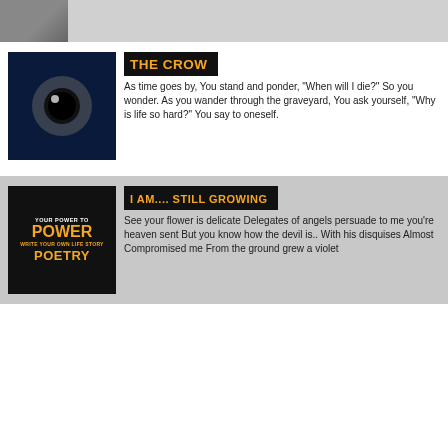[Figure (photo): Top section with partial photo of a person, gray background]
[Figure (photo): Dark image with a crow eye or circular orb on dark blue background]
THE CROW
As time goes by, You stand and ponder, "When will I die?" So you wonder. As you wander through the graveyard, You ask yourself, "Why is life so hard?" You say to oneself.
[Figure (photo): Power Poetry book cover, black background with gold text]
I AM.... STILL GROWING
See your flower is delicate Delegates of angels persuade to me you're heaven sent But you know how the devil is.. With his disquises Almost Compromised me From the ground grew a violet